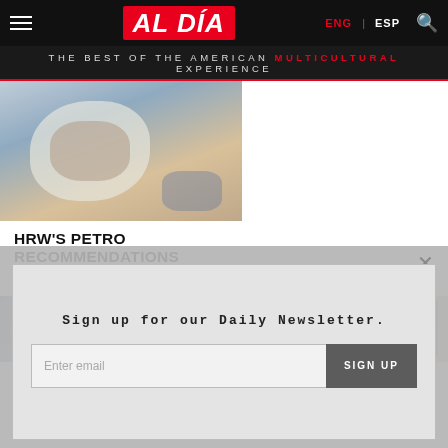AL DÍA | ENG | ESP
THE BEST OF THE AMERICAN MULTICULTURAL EXPERIENCE
[Figure (photo): Man speaking at a microphone, wearing a white shirt]
HRW'S PETRO RECOMMENDATIONS
August 19th, 2022
[Figure (photo): Two thumbnail images side by side: left shows people with Venezuelan flag, right shows woman near US flags]
Sign up for our Daily Newsletter.
Enter email
SIGN UP